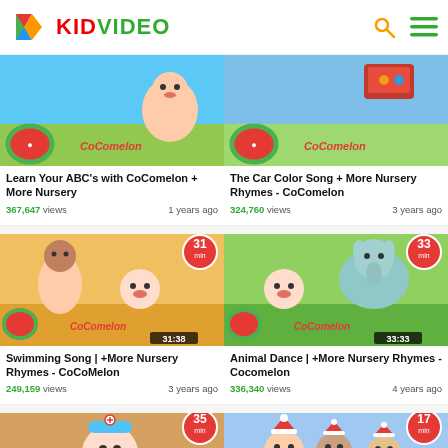KIDVIDEO
[Figure (screenshot): Video thumbnail for Learn Your ABC's with CoComelon + More Nursery - CoComelon animated characters]
Learn Your ABC's with CoComelon + More Nursery
367,647 views   1 years ago
[Figure (screenshot): Video thumbnail for The Car Color Song + More Nursery Rhymes - CoComelon animated characters]
The Car Color Song + More Nursery Rhymes - CoComelon
324,760 views   3 years ago
[Figure (screenshot): Video thumbnail for Swimming Song | +More Nursery Rhymes - CoCoMelon, 31 min badge, timestamp 31:38]
Swimming Song | +More Nursery Rhymes - CoCoMelon
249,159 views   3 years ago
[Figure (screenshot): Video thumbnail for Animal Dance | +More Nursery Rhymes - Cocomelon, 33 min badge, timestamp 33:33]
Animal Dance | +More Nursery Rhymes - Cocomelon
336,340 views   4 years ago
[Figure (screenshot): Video thumbnail partially visible, 35 min badge]
[Figure (screenshot): Video thumbnail partially visible, 17 min badge]